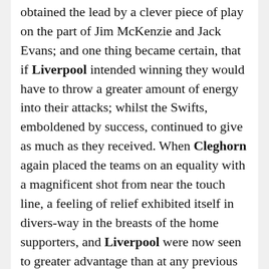obtained the lead by a clever piece of play on the part of Jim McKenzie and Jack Evans; and one thing became certain, that if Liverpool intended winning they would have to throw a greater amount of energy into their attacks; whilst the Swifts, emboldened by success, continued to give as much as they received. When Cleghorn again placed the teams on an equality with a magnificent shot from near the touch line, a feeling of relief exhibited itself in divers-way in the breasts of the home supporters, and Liverpool were now seen to greater advantage than at any previous portion of the game. They kept the visitors confined in their own half, and just on the call of time Ross made a grand effort, which resulted in the winning goal. Liverpool